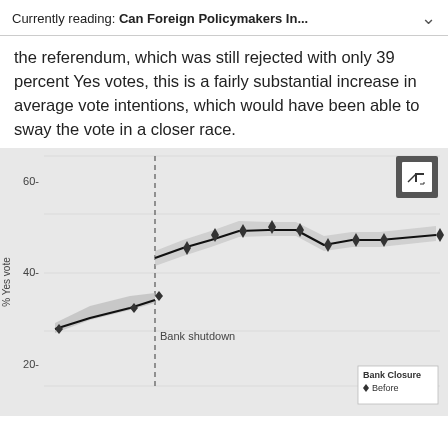Currently reading: Can Foreign Policymakers In...
the referendum, which was still rejected with only 39 percent Yes votes, this is a fairly substantial increase in average vote intentions, which would have been able to sway the vote in a closer race.
[Figure (line-chart): Line chart showing % Yes vote over time, with a vertical dashed line marking 'Bank shutdown'. Two segments: before shutdown shows values around 32-36%, after shutdown rises to ~45% then peaks near 51% before settling around 49%. Confidence bands shown. Legend: Bank Closure - Before.]